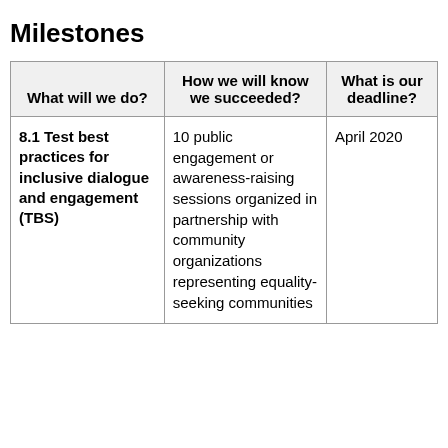Milestones
| What will we do? | How we will know we succeeded? | What is our deadline? |
| --- | --- | --- |
| 8.1 Test best practices for inclusive dialogue and engagement (TBS) | 10 public engagement or awareness-raising sessions organized in partnership with community organizations representing equality-seeking communities | April 2020 |